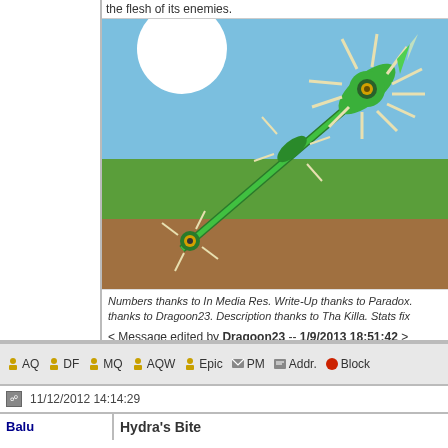the flesh of its enemies.
[Figure (illustration): A green fantasy weapon/lance with spikes and ornate design, shown diagonally against a sky and ground background scene.]
Numbers thanks to In Media Res. Write-Up thanks to Paradox. thanks to Dragoon23. Description thanks to Tha Killa. Stats fix
< Message edited by Dragoon23 -- 1/9/2013 18:51:42 >
AQ  DF  MQ  AQW  Epic  PM  Addr.  Block
11/12/2012 14:14:29
Balu
Hydra's Bite